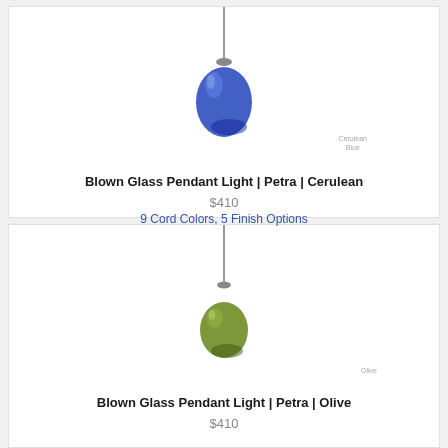[Figure (illustration): Blue blown glass pendant light (Cerulean Blue) hanging from a thin cord/wire, with color label 'Cerulean Blue' below]
Blown Glass Pendant Light | Petra | Cerulean
$410
9 Cord Colors, 5 Finish Options
[Figure (illustration): Olive/green blown glass pendant light (Olive) hanging from a thin cord/wire, with color label 'Olive' below]
Blown Glass Pendant Light | Petra | Olive
$410